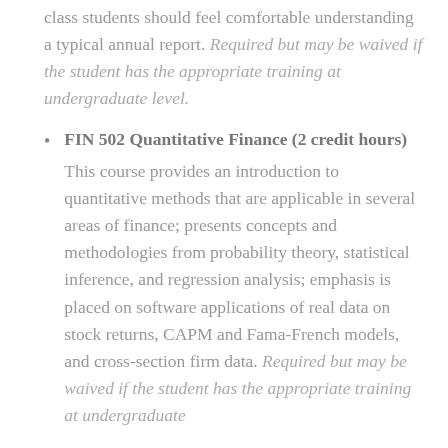class students should feel comfortable understanding a typical annual report. Required but may be waived if the student has the appropriate training at undergraduate level.
FIN 502 Quantitative Finance (2 credit hours)
This course provides an introduction to quantitative methods that are applicable in several areas of finance; presents concepts and methodologies from probability theory, statistical inference, and regression analysis; emphasis is placed on software applications of real data on stock returns, CAPM and Fama-French models, and cross-section firm data. Required but may be waived if the student has the appropriate training at undergraduate